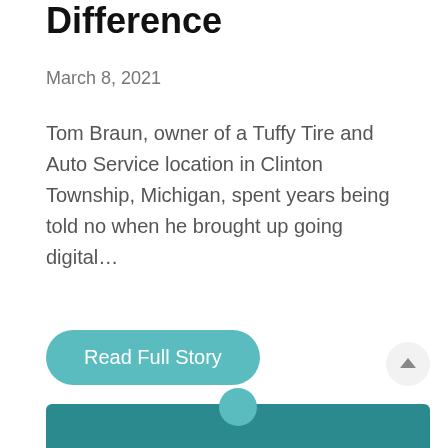Difference
March 8, 2021
Tom Braun, owner of a Tuffy Tire and Auto Service location in Clinton Township, Michigan, spent years being told no when he brought up going digital…
Read Full Story